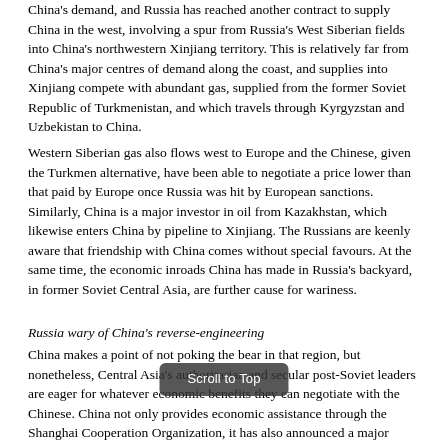China's demand, and Russia has reached another contract to supply China in the west, involving a spur from Russia's West Siberian fields into China's northwestern Xinjiang territory. This is relatively far from China's major centres of demand along the coast, and supplies into Xinjiang compete with abundant gas, supplied from the former Soviet Republic of Turkmenistan, and which travels through Kyrgyzstan and Uzbekistan to China.
Western Siberian gas also flows west to Europe and the Chinese, given the Turkmen alternative, have been able to negotiate a price lower than that paid by Europe once Russia was hit by European sanctions. Similarly, China is a major investor in oil from Kazakhstan, which likewise enters China by pipeline to Xinjiang. The Russians are keenly aware that friendship with China comes without special favours. At the same time, the economic inroads China has made in Russia's backyard, in former Soviet Central Asia, are further cause for wariness.
Russia wary of China's reverse-engineering
China makes a point of not poking the bear in that region, but nonetheless, Central Asia's authoritarian and secular post-Soviet leaders are eager for whatever economic benefits they can negotiate with the Chinese. China not only provides economic assistance through the Shanghai Cooperation Organization, it has also announced a major initiative around the New Silk Road or One Belt-One Road, which is aimed at boosting infrastructure and connectivity from East Asia across the Eurasian continent.
That means the Russia-led customs union, the Eurasian Union, is less enthusiastically embraced than it might be otherwise, and the post-